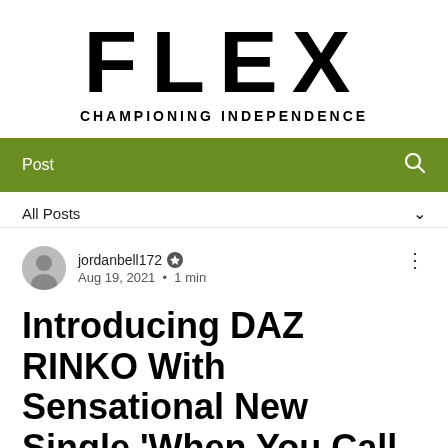FLEX
CHAMPIONING INDEPENDENCE
[Figure (screenshot): Green navigation bar with 'Post' label on left and search icon on right]
All Posts ∨
jordanbell172 ✪
Aug 19, 2021 · 1 min
Introducing DAZ RINKO With Sensational New Single 'When You Call